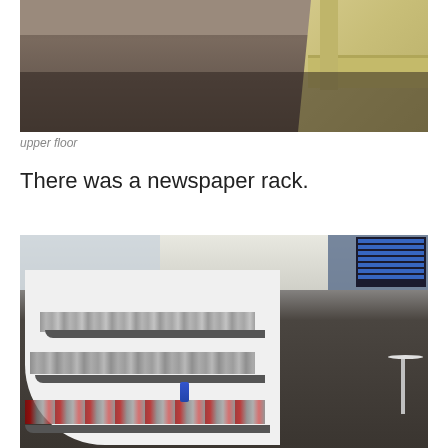[Figure (photo): Interior photo of an airport lounge upper floor showing dark carpet flooring and cream/yellow leather sofas]
upper floor
There was a newspaper rack.
[Figure (photo): Photo of a curved white newspaper/magazine rack with multiple shelves filled with newspapers and magazines in an airport lounge, with departure board visible in background]